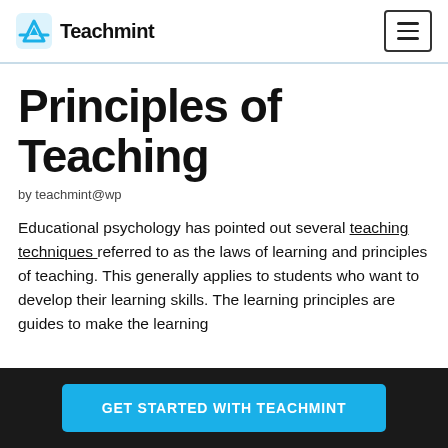Teachmint
Principles of Teaching
by teachmint@wp
Educational psychology has pointed out several teaching techniques referred to as the laws of learning and principles of teaching. This generally applies to students who want to develop their learning skills. The learning principles are guides to make the learning
GET STARTED WITH TEACHMINT